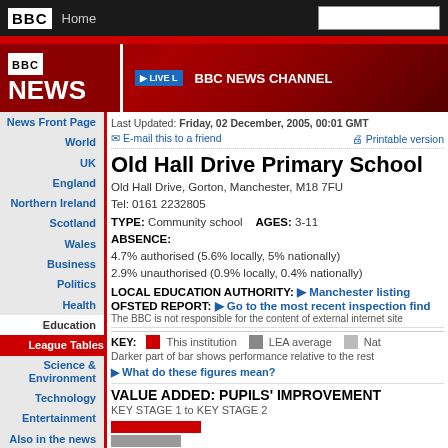BBC Home
[Figure (logo): BBC News logo with red background and Live channel banner]
Last Updated: Friday, 02 December, 2005, 00:01 GMT
E-mail this to a friend | Printable version
Old Hall Drive Primary School
Old Hall Drive, Gorton, Manchester, M18 7FU
Tel: 0161 2232805
TYPE: Community school   AGES: 3-11
ABSENCE:
4.7% authorised (5.6% locally, 5% nationally)
2.9% unauthorised (0.9% locally, 0.4% nationally)
LOCAL EDUCATION AUTHORITY: Manchester listing
OFSTED REPORT: Go to the most recent inspection findings
The BBC is not responsible for the content of external internet sites
KEY: This institution   LEA average   National
Darker part of bar shows performance relative to the rest
What do these figures mean?
VALUE ADDED: PUPILS' IMPROVEMENT
KEY STAGE 1 to KEY STAGE 2
News Front Page
World
UK
England
Northern Ireland
Scotland
Wales
Business
Politics
Health
Education
League Tables
Science & Environment
Technology
Entertainment
Also in the news
Video and Audio
Have Your Say